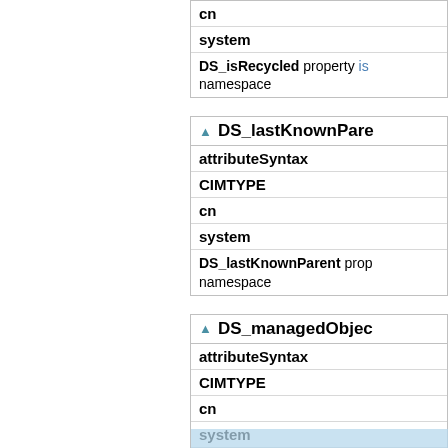| cn |
| system |
| DS_isRecycled property is ... namespace |
| ▲ DS_lastKnownPare... |
| --- |
| attributeSyntax |
| CIMTYPE |
| cn |
| system |
| DS_lastKnownParent prop... namespace |
| ▲ DS_managedObjec... |
| --- |
| attributeSyntax |
| CIMTYPE |
| cn |
| system |
| DS_managedObjects prop... |
| namespace |
[Figure (logo): WUtils.com watermark logo overlay at bottom right]